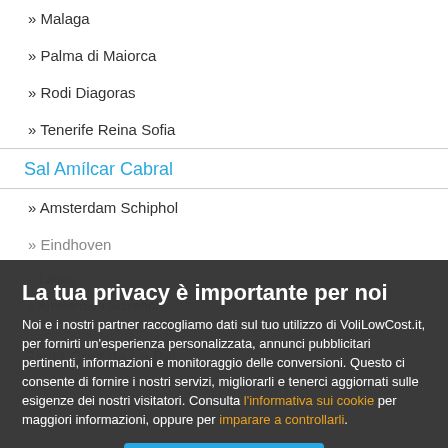» Malaga
» Palma di Maiorca
» Rodi Diagoras
» Tenerife Reina Sofia
Sal Amílcar Cabral
» Amsterdam Schiphol
» Eindhoven
La tua privacy è importante per noi
Noi e i nostri partner raccogliamo dati sul tuo utilizzo di VoliLowCost.it, per fornirti un'esperienza personalizzata, annunci pubblicitari pertinenti, informazioni e monitoraggio delle conversioni. Questo ci consente di fornire i nostri servizi, migliorarli e tenerci aggiornati sulle esigenze dei nostri visitatori. Consulta l'informativa sui cookie per maggiori informazioni, oppure per imparare a controllarli.
OK
Modifica le preferenze dei cookie